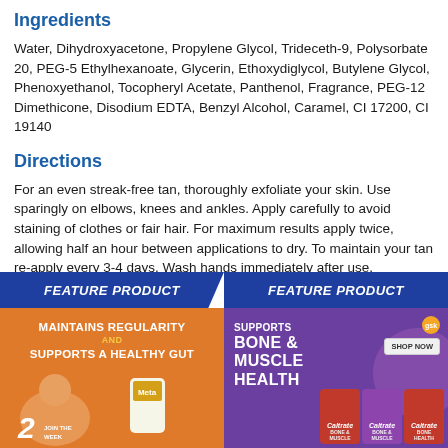Ingredients
Water, Dihydroxyacetone, Propylene Glycol, Trideceth-9, Polysorbate 20, PEG-5 Ethylhexanoate, Glycerin, Ethoxydiglycol, Butylene Glycol, Phenoxyethanol, Tocopheryl Acetate, Panthenol, Fragrance, PEG-12 Dimethicone, Disodium EDTA, Benzyl Alcohol, Caramel, CI 17200, CI 19140
Directions
For an even streak-free tan, thoroughly exfoliate your skin. Use sparingly on elbows, knees and ankles. Apply carefully to avoid staining of clothes or fair hair. For maximum results apply twice, allowing half an hour between applications to dry. To maintain your tan re-apply every 3-4 days. Wash hands immediately after use.
[Figure (infographic): Feature Product banner - orange background with text MAINTAINS REGULARITY AND SUPPORTS A HEALTHY GUT with Meta product image and person]
[Figure (infographic): Feature Product banner - purple background with text SUPPORTS BONE & MUSCLE HEALTH with Caltrate product images and GSK logo]